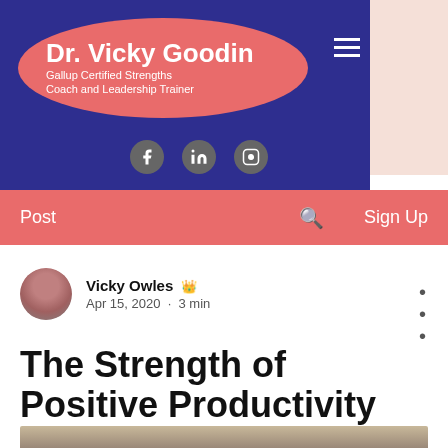Dr. Vicky Goodin — Gallup Certified Strengths Coach and Leadership Trainer
Post   Sign Up
Vicky Owles  Apr 15, 2020  ·  3 min
The Strength of Positive Productivity
[Figure (photo): Bottom strip of an article image, partially visible]